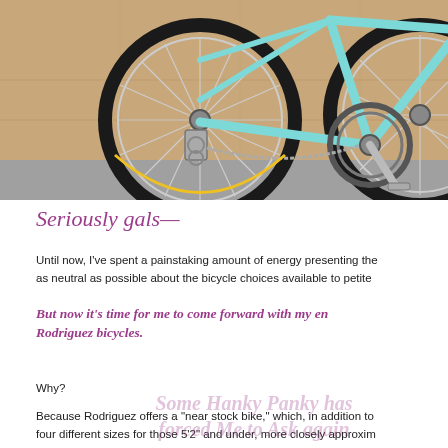[Figure (photo): Close-up photograph of a light blue road bicycle leaning against a stone/concrete wall. Visible components include the rear wheel with spokes, rear derailleur, chain, crankset, and part of the front wheel on the right side. The bicycle frame is turquoise/light blue.]
Seriously gals—
Until now, I've spent a painstaking amount of energy presenting the as neutral as possible about the bicycle choices available to petite
But now it's time for me to come forward with my en Rodriguez bicycles.
Why?
Because Rodriguez offers a "near stock bike," which, in addition to four different sizes for those 5'2" and under, more closely approxim